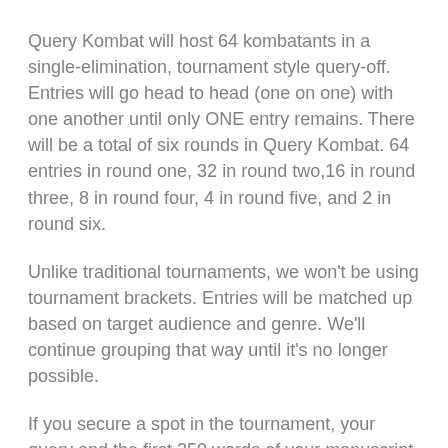Query Kombat will host 64 kombatants in a single-elimination, tournament style query-off. Entries will go head to head (one on one) with one another until only ONE entry remains. There will be a total of six rounds in Query Kombat. 64 entries in round one, 32 in round two,16 in round three, 8 in round four, 4 in round five, and 2 in round six.
Unlike traditional tournaments, we won't be using tournament brackets. Entries will be matched up based on target audience and genre. We'll continue grouping that way until it's no longer possible.
If you secure a spot in the tournament, your query and the first 250 words of your manuscript (to the end of a complete sentence) will be pitted against another query and first 250 words. Judges will read each match-up and vote 'Victory' on the best entry. Remember, this is subjective. Considering last year, votes may come down to personal tastes.
The entry with the most 'victories' at the end of the round will